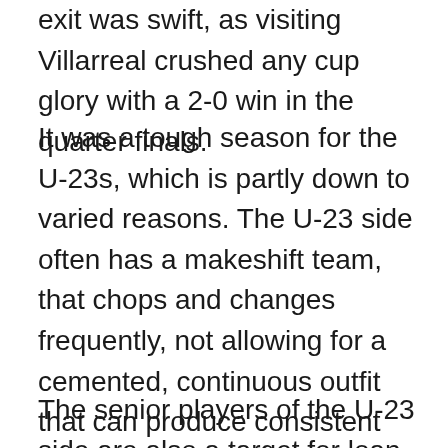exit was swift, as visiting Villarreal crushed any cup glory with a 2-0 win in the quarter finals.
It was a tough season for the U-23s, which is partly down to varied reasons. The U-23 side often has a makeshift team, that chops and changes frequently, not allowing for a cemented, continuous outfit that can produce consistent performances. Players that perform well in the U-23s are frequently called up to the first team. For example, the emergence of Scott McTominay in José Mourinho's first team squad. The Scottish midfielder started his 2017/18 campaign captaining Ricky Sbragia's side, but his impressive displays warranted a call-up to the senior side, making a total of 23 appearances in all competitions.
The senior players of the U-23 side are also a target for loan moves. Manchester United had a total of 9